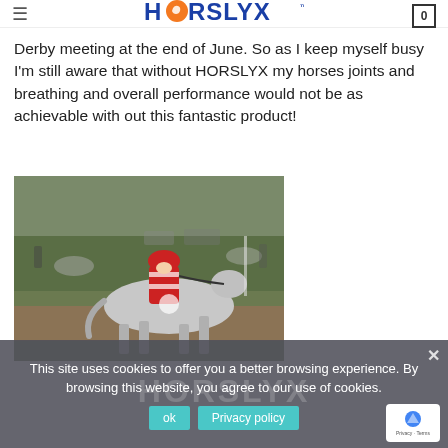HORSLYX
Derby meeting at the end of June. So as I keep myself busy I'm still aware that without HORSLYX my horses joints and breathing and overall performance would not be as achievable with out this fantastic product!
[Figure (photo): A rider in red helmet and red/white jacket on a grey horse jumping through a water obstacle at a cross-country equestrian event. Other horses and spectators visible in background on green grounds.]
This site uses cookies to offer you a better browsing experience. By browsing this website, you agree to our use of cookies.
ok   Privacy policy